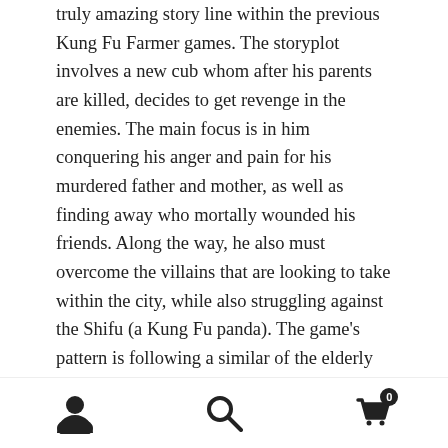truly amazing story line within the previous Kung Fu Farmer games. The storyplot involves a new cub whom after his parents are killed, decides to get revenge in the enemies. The main focus is in him conquering his anger and pain for his murdered father and mother, as well as finding away who mortally wounded his friends. Along the way, he also must overcome the villains that are looking to take within the city, while also struggling against the Shifu (a Kung Fu panda). The game’s pattern is following a similar of the elderly Ninjas, simply this time the game is over a mobile equipment. This mobile game has a few unique stages to complete and many other bonus things available to obtain and use.
This Kung Fu Grupo DS Rom review will take a glance at some of the advantages of the video game that the...
[Figure (other): Bottom navigation bar with three icons: user/account icon on the left, search magnifying glass icon in the center, and shopping cart icon with badge showing '0' on the right.]